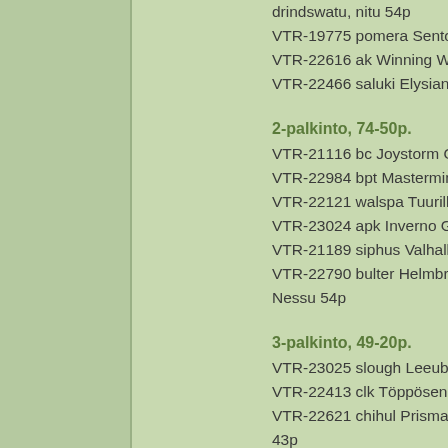drindswatu, nitu 54p
VTR-19775 pomera Sento Nel Co
VTR-22616 ak Winning White's W
VTR-22466 saluki Elysian Acidosi
2-palkinto, 74-50p.
VTR-21116 bc Joystorm Quarter
VTR-22984 bpt Mastermind with
VTR-22121 walspa Tuurilla Futuri
VTR-23024 apk Inverno Ghosts O
VTR-21189 siphus Valhallan Jazz
VTR-22790 bulter Helmbrook Su
Nessu 54p
3-palkinto, 49-20p.
VTR-23025 slough Leeuborsel Da
VTR-22413 clk Töppösen Turha To
VTR-22621 chihul Prismatic ZER
43p
VTR-22983 bpt Multivocal with